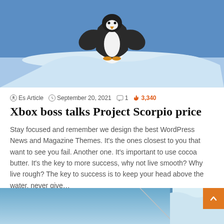[Figure (photo): Penguin standing on ice/snow with wings spread, blue sky background]
Es Article  September 20, 2021  1  3,340
Xbox boss talks Project Scorpio price
Stay focused and remember we design the best WordPress News and Magazine Themes. It's the ones closest to you that want to see you fail. Another one. It's important to use cocoa butter. It's the key to more success, why not live smooth? Why live rough? The key to success is to keep your head above the water, never give…
Read More »
[Figure (photo): Icy/snowy scene with blue tones, partial view of second article image]